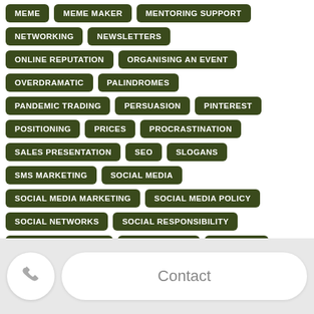MEME
MEME MAKER
MENTORING SUPPORT
NETWORKING
NEWSLETTERS
ONLINE REPUTATION
ORGANISING AN EVENT
OVERDRAMATIC
PALINDROMES
PANDEMIC TRADING
PERSUASION
PINTEREST
POSITIONING
PRICES
PROCRASTINATION
SALES PRESENTATION
SEO
SLOGANS
SMS MARKETING
SOCIAL MEDIA
SOCIAL MEDIA MARKETING
SOCIAL MEDIA POLICY
SOCIAL NETWORKS
SOCIAL RESPONSIBILITY
SPELLING MISTAKES
TESTIMONIALS
TWEETING
TWITTER HOW TO
WEB PLATFORMS
WEBSITE
WEBSITES
Contact